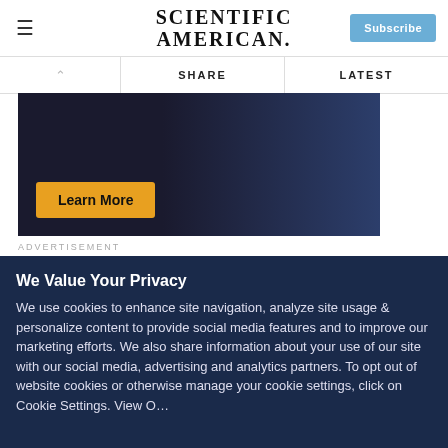SCIENTIFIC AMERICAN
[Figure (screenshot): Advertisement image with dark blue/navy background and an orange 'Learn More' button]
ADVERTISEMENT
I remain a skeptic. Still, I really don't know how my mother managed those five minutes of perfect communion with me when, ostensibly, all of her cognitive functions were already
We Value Your Privacy
We use cookies to enhance site navigation, analyze site usage & personalize content to provide social media features and to improve our marketing efforts. We also share information about your use of our site with our social media, advertising and analytics partners. To opt out of website cookies or otherwise manage your cookie settings, click on Cookie Settings. View O…